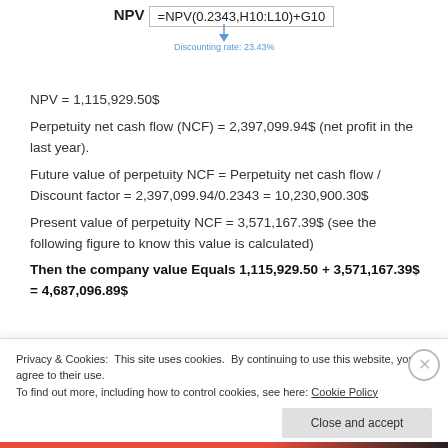[Figure (screenshot): Excel formula bar showing NPV =NPV(0.2343,H10:L10)+G10 with annotation arrow pointing to 'Discounting rate: 23.43%']
NPV = 1,115,929.50$
Perpetuity net cash flow (NCF) = 2,397,099.94$ (net profit in the last year).
Future value of perpetuity NCF = Perpetuity net cash flow / Discount factor = 2,397,099.94/0.2343 = 10,230,900.30$
Present value of perpetuity NCF = 3,571,167.39$ (see the following figure to know this value is calculated)
Then the company value Equals 1,115,929.50 + 3,571,167.39$ = 4,687,096.89$
Period
Privacy & Cookies: This site uses cookies. By continuing to use this website, you agree to their use.
To find out more, including how to control cookies, see here: Cookie Policy
Close and accept